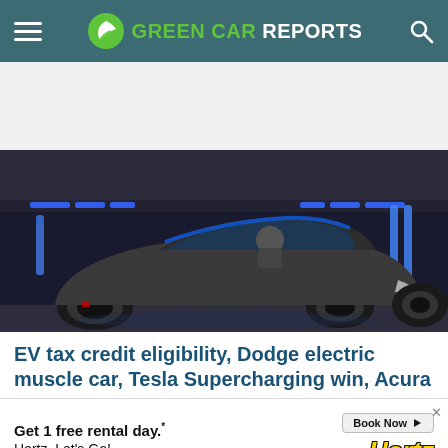GREEN CAR REPORTS
[Figure (photo): Dark gray Dodge electric muscle car concept on a dark stage with blue LED lighting, with a person seated inside the vehicle]
EV tax credit eligibility, Dodge electric muscle car, Tesla Supercharging win, Acura
[Figure (other): Hertz advertisement banner: Get 1 free rental day.* Hertz. Let's Go! with Book Now button]